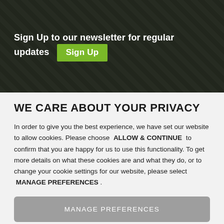[Figure (photo): Dark banner with outdoor background and newsletter sign-up text. White text reads 'Sign Up to our newsletter for regular updates' with a green 'Sign Up' button.]
WE CARE ABOUT YOUR PRIVACY
In order to give you the best experience, we have set our website to allow cookies. Please choose ALLOW & CONTINUE to confirm that you are happy for us to use this functionality. To get more details on what these cookies are and what they do, or to change your cookie settings for our website, please select MANAGE PREFERENCES .